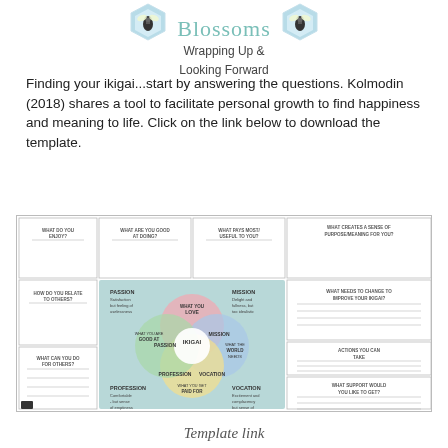Blossoms
Wrapping Up &
Looking Forward
Finding your ikigai...start by answering the questions. Kolmodin (2018) shares a tool to facilitate personal growth to find happiness and meaning to life. Click on the link below to download the template.
[Figure (infographic): Ikigai diagram template worksheet with four overlapping circles labeled PASSION, MISSION, PROFESSION, VOCATION centered on IKIGAI, surrounded by worksheet question boxes: What do you enjoy?, What are you good at doing?, What pays most/is useful to you?, What creates a sense of purpose/meaning for you?, How do you relate to others?, What can you do for others?, What needs to change to improve your ikigai?, Actions you can take, What support would you like to get?]
Template link